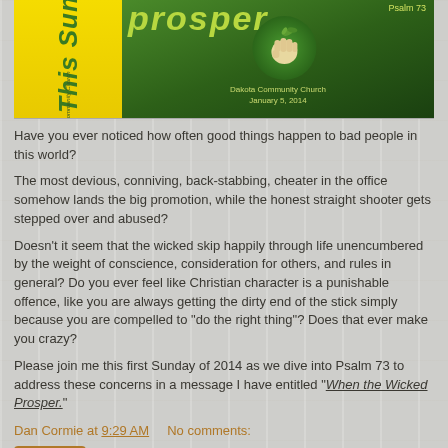[Figure (illustration): Church bulletin image showing 'This Sunday At Dakota Community Church' in yellow on the left, and a green background with a fist holding money on the right, with text 'Dakota Community Church January 5, 2014' and Psalm 73 reference]
Have you ever noticed how often good things happen to bad people in this world?
The most devious, conniving, back-stabbing, cheater in the office somehow lands the big promotion, while the honest straight shooter gets stepped over and abused?
Doesn't it seem that the wicked skip happily through life unencumbered by the weight of conscience, consideration for others, and rules in general? Do you ever feel like Christian character is a punishable offence, like you are always getting the dirty end of the stick simply because you are compelled to "do the right thing"? Does that ever make you crazy?
Please join me this first Sunday of 2014 as we dive into Psalm 73 to address these concerns in a message I have entitled "When the Wicked Prosper."
Dan Cormie at 9:29 AM    No comments:
Share